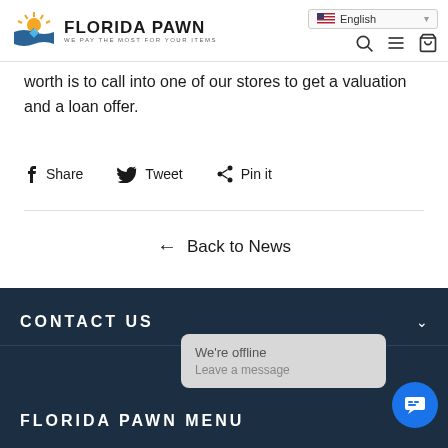Florida Pawn — We Pay The Most For Your Items | English language selector | search, menu, cart icons
worth is to call into one of our stores to get a valuation and a loan offer.
Share  Tweet  Pin it
← Back to News
CONTACT US
FLORIDA PAWN MENU
We're offline
Leave a message